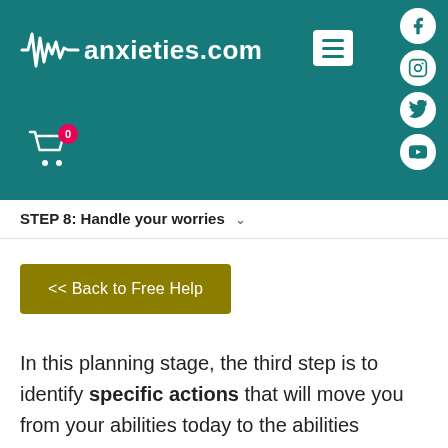anxieties.com
STEP 8: Handle your worries
<< Back to Free Help
In this planning stage, the third step is to identify specific actions that will move you from your abilities today to the abilities needed to reach you goals. Practice this step